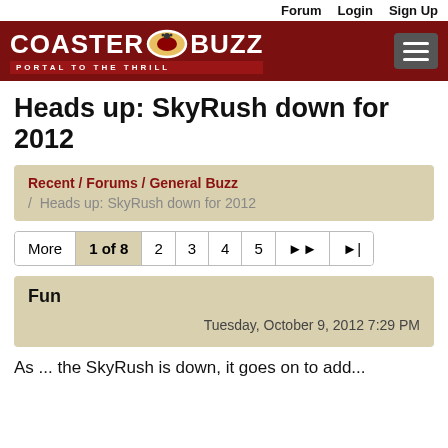Forum  Login  Sign Up
[Figure (logo): CoasterBuzz - Portal to the Thrill logo on dark red banner with hamburger menu button]
Heads up: SkyRush down for 2012
Recent / Forums / General Buzz / Heads up: SkyRush down for 2012
More  1 of 8  2  3  4  5  ▶▶  ▶|
Fun
Tuesday, October 9, 2012 7:29 PM
As ... the SkyRush is down, it goes on to add...